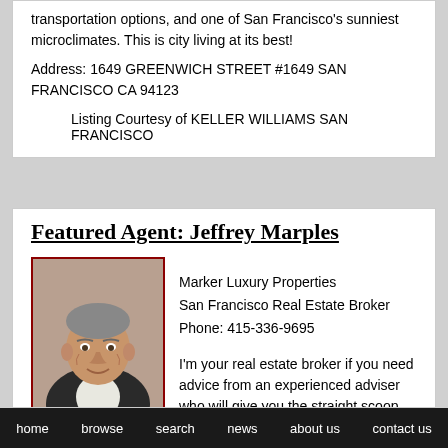transportation options, and one of San Francisco's sunniest microclimates. This is city living at its best!
Address: 1649 GREENWICH STREET #1649 SAN FRANCISCO CA 94123
Listing Courtesy of KELLER WILLIAMS SAN FRANCISCO
Featured Agent: Jeffrey Marples
[Figure (photo): Portrait photo of Jeffrey Marples, a middle-aged man in a dark suit jacket with a light shirt, slight smile, gray hair]
Marker Luxury Properties
San Francisco Real Estate Broker
Phone: 415-336-9695
I'm your real estate broker if you need advice from an experienced adviser who will give you the straight scoop
home   browse   search   news   about us   contact us